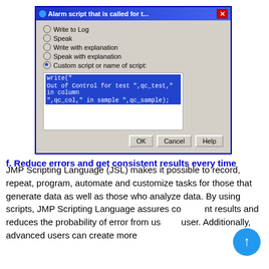[Figure (screenshot): Windows dialog box titled 'Alarm script that is called for t...' with radio options: Write to Log, Speak, Write with explanation, Speak with explanation, Custom script or name of script (selected). A text area shows highlighted JSL code: write("Out of Control for test ",qc_test," in column ",qc_col," in sample ",qc_sample);. Buttons: OK, Cancel, Help.]
f. Reduce errors and get consistent results every time
JMP Scripting Language (JSL) makes it possible to record, repeat, program, automate and customize tasks for those that generate data as well as those who analyze data. By using scripts, JMP Scripting Language assures consistent results and reduces the probability of error from user to user. Additionally, advanced users can create more